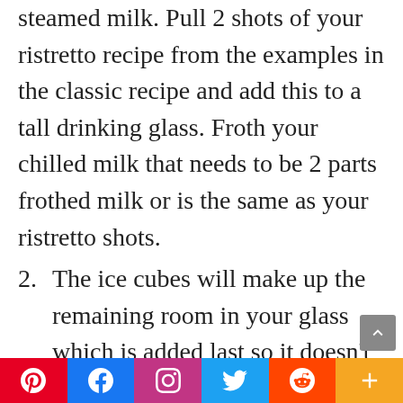steamed milk. Pull 2 shots of your ristretto recipe from the examples in the classic recipe and add this to a tall drinking glass. Froth your chilled milk that needs to be 2 parts frothed milk or is the same as your ristretto shots.
2. The ice cubes will make up the remaining room in your glass which is added last so it doesn't dilute your ristretto shots. The whole milk will dilute the flavor slightly but is still the flavor of ristretto. You can